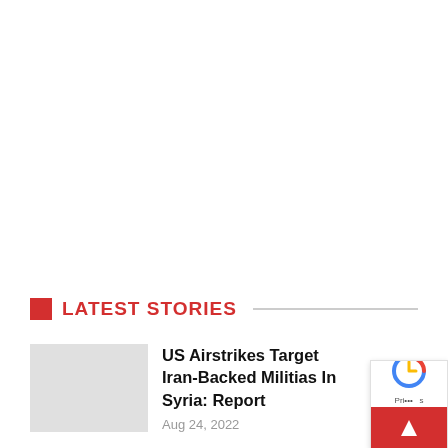LATEST STORIES
US Airstrikes Target Iran-Backed Militias In Syria: Report
Aug 24, 2022